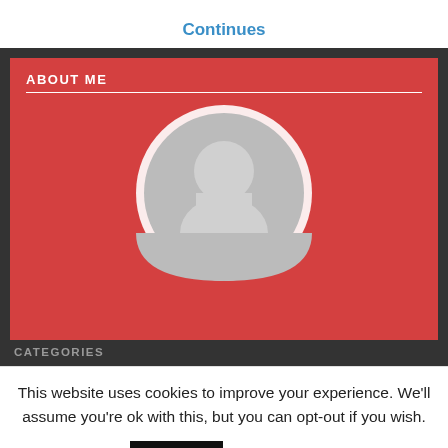Continues
[Figure (illustration): About Me widget on a dark background panel showing a red rectangle with 'ABOUT ME' header, a horizontal white divider line, and a generic gray user avatar circle (silhouette of a person)]
CATEGORIES
This website uses cookies to improve your experience. We'll assume you're ok with this, but you can opt-out if you wish.
Accept  Read More